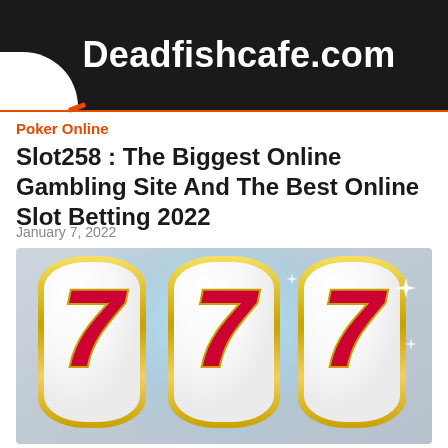Deadfishcafe.com
Poker Online
Slot258 : The Biggest Online Gambling Site And The Best Online Slot Betting 2022
January 7, 2022
[Figure (illustration): Slot machine reels showing three lucky 7s (777) with gold borders and a glowing blue-white bubble effect on a grey background]